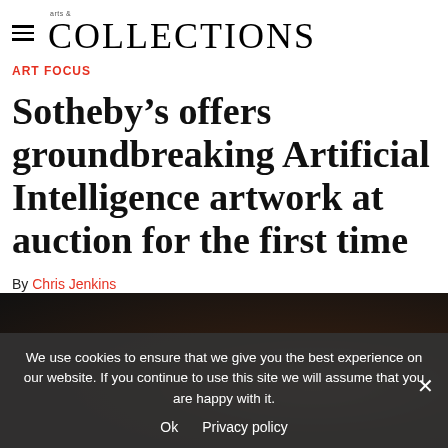arts & COLLECTIONS
ART FOCUS
Sotheby’s offers groundbreaking Artificial Intelligence artwork at auction for the first time
By Chris Jenkins
[Figure (photo): Dark photograph, largely black with brown/amber warm tones, likely depicting a subject in low-key lighting]
We use cookies to ensure that we give you the best experience on our website. If you continue to use this site we will assume that you are happy with it.
Ok   Privacy policy